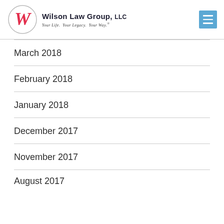Wilson Law Group, LLC — Your Life. Your Legacy. Your Way.
March 2018
February 2018
January 2018
December 2017
November 2017
August 2017